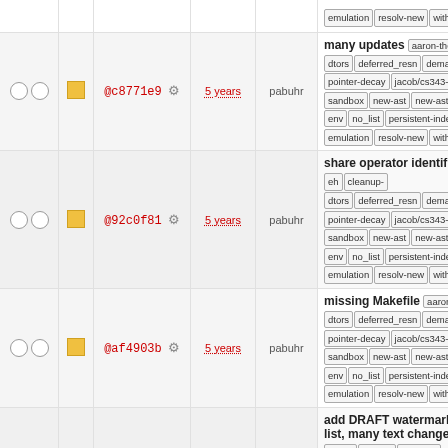|  |  | hash | time | user | info |
| --- | --- | --- | --- | --- | --- |
| OO | □ | @c8771e9 ⚙ | 5 years | pabuhr | many updates | aaron-thesis | dtors | deferred_resn | demangle | pointer-decay | jacob/cs343-trans | sandbox | new-ast | new-ast-uni | env | no_list | persistent-indexer | emulation | resolv-new | with_gc |
| OO | □ | @92c0f81 ⚙ | 5 years | pabuhr | share operator identifiers | eh | cleanup-dtors | deferred_resn | demangle | pointer-decay | jacob/cs343-trans | sandbox | new-ast | new-ast-uni | env | no_list | persistent-indexer | emulation | resolv-new | with_gc |
| OO | □ | @af4903b ⚙ | 5 years | pabuhr | missing Makefile | aaron-thesis | dtors | deferred_resn | demangle | pointer-decay | jacob/cs343-trans | sandbox | new-ast | new-ast-uni | env | no_list | persistent-indexer | emulation | resolv-new | with_gc |
| OO | □ | @7f617cf0 ⚙ | 5 years | pabuhr | add DRAFT watermark, sh list, many text changes and | thesis | arm-eh | cleanup-dtors | deferred_resn | demangle | pointer-decay | jacob/cs343-trans | sandbox | new-ast | new-ast-uni | env | no_list | persistent-indexer | emulation | resolv-new | with_gc |
| OO | □ | @fe97a7d8 ⚙ | 5 years | pabuhr | updates to exponential ope | thesis | arm-eh | cleanup-dtors | deferred_resn | demangle | pointer-decay | jacob/cs343-trans | sandbox | new-ast | new-ast-uni | env | no_list | persistent-indexer |